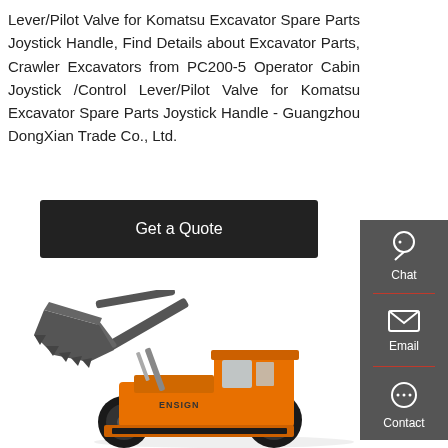Lever/Pilot Valve for Komatsu Excavator Spare Parts Joystick Handle, Find Details about Excavator Parts, Crawler Excavators from PC200-5 Operator Cabin Joystick /Control Lever/Pilot Valve for Komatsu Excavator Spare Parts Joystick Handle - Guangzhou DongXian Trade Co., Ltd.
Get a Quote
[Figure (photo): Orange and black wheel loader (ENSIGN brand) with raised bucket arm, photographed from the side-front angle showing the machine on white background]
[Figure (infographic): Dark grey sidebar with Chat (headset icon), Email (envelope icon), and Contact (speech bubble icon) options separated by red dividers]